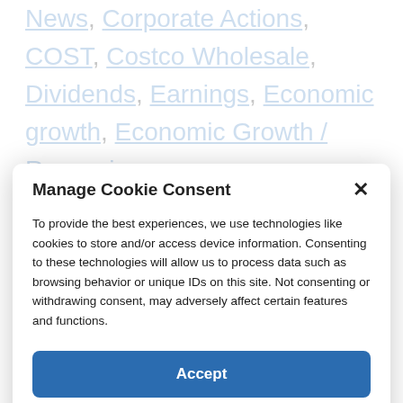News, Corporate Actions, COST, Costco Wholesale, Dividends, Earnings, Economic growth, Economic Growth / Recession, Economic News, Economic performance, Economic Performance / Indicators, Economics, Economy & Policy, Equity Markets, Factive Filters, Feature, Financial…
Manage Cookie Consent
To provide the best experiences, we use technologies like cookies to store and/or access device information. Consenting to these technologies will allow us to process data such as browsing behavior or unique IDs on this site. Not consenting or withdrawing consent, may adversely affect certain features and functions.
Accept
Cookie Policy